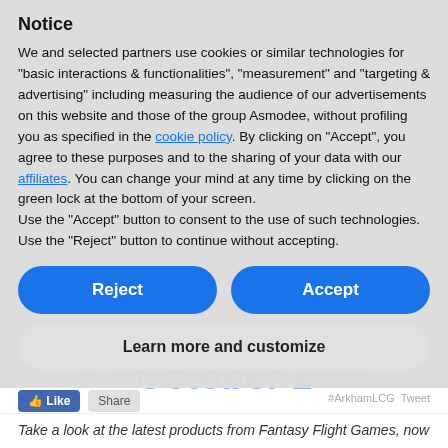FANTASY FLIGHT GAMES
Notice
We and selected partners use cookies or similar technologies for "basic interactions & functionalities", "measurement" and "targeting & advertising" including measuring the audience of our advertisements on this website and those of the group Asmodee, without profiling you as specified in the cookie policy. By clicking on "Accept", you agree to these purposes and to the sharing of your data with our affiliates. You can change your mind at any time by clicking on the green lock at the bottom of your screen. Use the "Accept" button to consent to the use of such technologies. Use the "Reject" button to continue without accepting.
Reject
Accept
Learn more and customize
2 October 2020
Arkham Horror: The Card Game
Available Now: October 2
New LCG Products Are Now at Your Local Retailer
#ArkhamLCG Tweet
Take a look at the latest products from Fantasy Flight Games, now